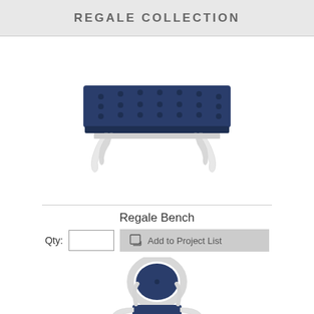REGALE COLLECTION
[Figure (photo): Navy blue tufted upholstered bench with white ornate cabriole legs, viewed from a slight angle]
Regale Bench
Qty: [input box] [Add to Project List button]
[Figure (photo): Navy blue tufted round-back accent chair with white ornate frame and armrests, partially visible at bottom of page]